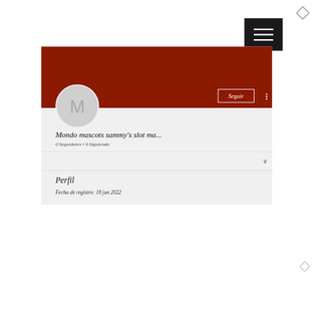[Figure (screenshot): Mobile app screenshot showing a user profile page with dark red banner header, circular avatar with letter M, profile name 'Mondo mascots sammy's slot ma...', follower count '0 Seguidores • 0 Siguiendo', a Seguir button, dropdown row with chevron, and Perfil section showing 'Fecha de registro: 18 jun 2022'. Also shows hamburger menu button and decorative diamond/hexagon shapes.]
Mondo mascots sammy's slot ma...
0 Seguidores • 0 Siguiendo
Perfil
Fecha de registro: 18 jun 2022